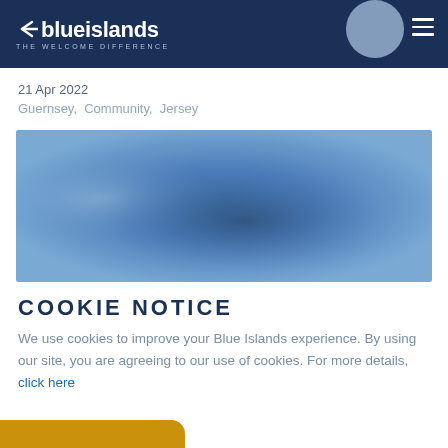blueislands THE WELCOME DIFFERENCE
21 Apr 2022
Guernsey,  Community,  Jersey
[Figure (photo): Blue gradient background image, abstract blurred sky tones]
COOKIE NOTICE
We use cookies to improve your Blue Islands experience. By using our site, you are agreeing to our use of cookies. For more details, click here